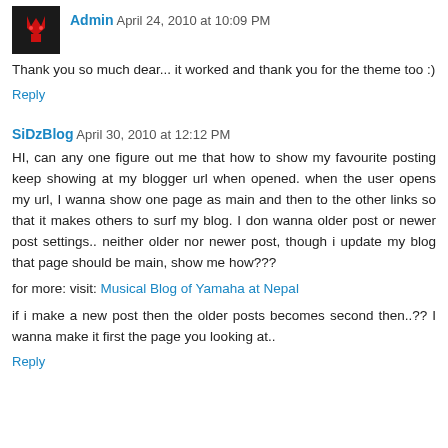Admin April 24, 2010 at 10:09 PM
Thank you so much dear... it worked and thank you for the theme too :)
Reply
SiDzBlog April 30, 2010 at 12:12 PM
HI, can any one figure out me that how to show my favourite posting keep showing at my blogger url when opened. when the user opens my url, I wanna show one page as main and then to the other links so that it makes others to surf my blog. I don wanna older post or newer post settings.. neither older nor newer post, though i update my blog that page should be main, show me how???
for more: visit: Musical Blog of Yamaha at Nepal
if i make a new post then the older posts becomes second then..?? I wanna make it first the page you looking at..
Reply